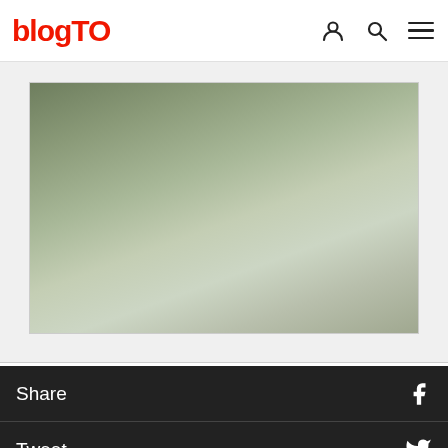blogTO
[Figure (photo): A blurred or out-of-focus nature/outdoor photograph with muted green and grey tones, displayed inside a light grey framed container]
Share
Tweet
Save this Article